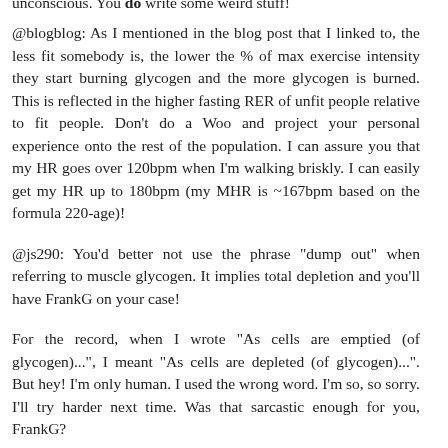unconscious. You do write some weird stuff!
@blogblog: As I mentioned in the blog post that I linked to, the less fit somebody is, the lower the % of max exercise intensity they start burning glycogen and the more glycogen is burned. This is reflected in the higher fasting RER of unfit people relative to fit people. Don't do a Woo and project your personal experience onto the rest of the population. I can assure you that my HR goes over 120bpm when I'm walking briskly. I can easily get my HR up to 180bpm (my MHR is ~167bpm based on the formula 220-age)!
@js290: You'd better not use the phrase "dump out" when referring to muscle glycogen. It implies total depletion and you'll have FrankG on your case!
For the record, when I wrote "As cells are emptied (of glycogen)...", I meant "As cells are depleted (of glycogen)...". But hey! I'm only human. I used the wrong word. I'm so, so sorry. I'll try harder next time. Was that sarcastic enough for you, FrankG?
How about arguing the point instead of my choice of